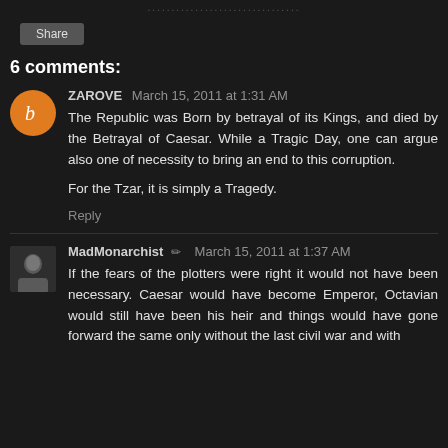..............................
Share
6 comments:
ZAROVE March 15, 2011 at 1:31 AM
The Republic was Born by betrayal of its Kings, and died by the Betrayal of Caesar. While a Tragic Day, one can argue also one of necessity to bring an end to this corruption.

For the Tzar, it is simply a Tragedy.
Reply
MadMonarchist ✏ March 15, 2011 at 1:37 AM
If the fears of the plotters were right it would not have been necessary. Caesar would have become Emperor, Octavian would still have been his heir and things would have gone forward the same only without the last civil war and with